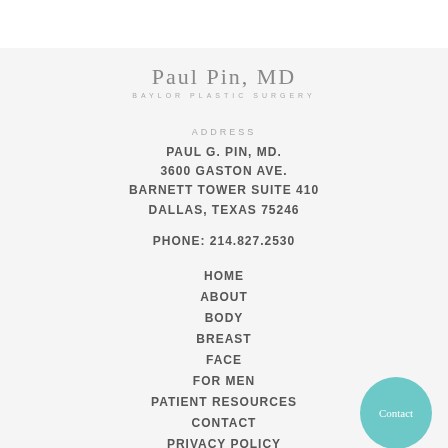[Figure (logo): Paul Pin, MD - Baylor Plastic Surgery logo in gray serif and sans-serif text]
ADDRESS
PAUL G. PIN, MD.
3600 GASTON AVE.
BARNETT TOWER SUITE 410
DALLAS, TEXAS 75246
PHONE: 214.827.2530
HOME
ABOUT
BODY
BREAST
FACE
FOR MEN
PATIENT RESOURCES
CONTACT
PRIVACY POLICY
[Figure (other): Teal circular Contact button]